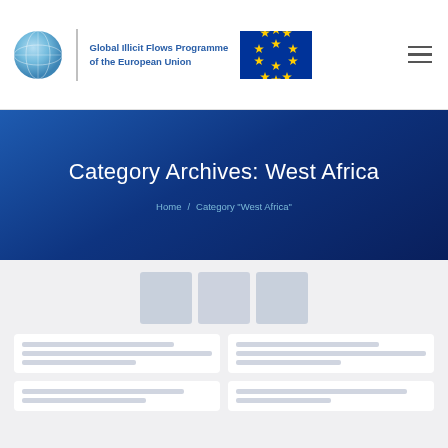Global Illicit Flows Programme of the European Union
Category Archives: West Africa
Home / Category "West Africa"
[Figure (screenshot): Content area with article card thumbnails and placeholder content blocks below the hero banner]